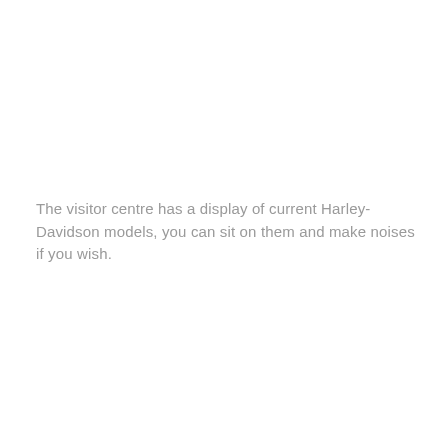The visitor centre has a display of current Harley-Davidson models, you can sit on them and make noises if you wish.